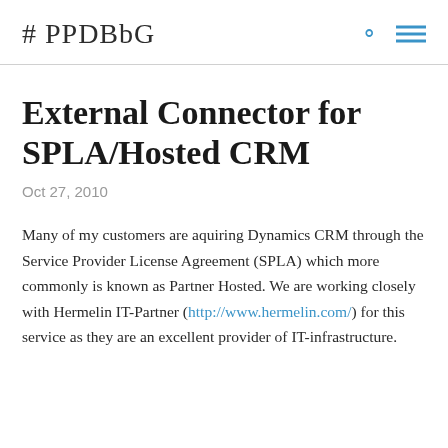#PPDBbG
External Connector for SPLA/Hosted CRM
Oct 27, 2010
Many of my customers are aquiring Dynamics CRM through the Service Provider License Agreement (SPLA) which more commonly is known as Partner Hosted. We are working closely with Hermelin IT-Partner (http://www.hermelin.com/) for this service as they are an excellent provider of IT-infrastructure.